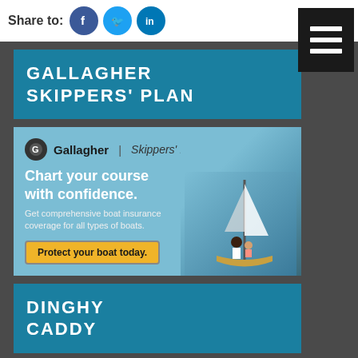Share to:
GALLAGHER SKIPPERS' PLAN
[Figure (illustration): Gallagher Skippers' Plan advertisement banner showing logo, headline 'Chart your course with confidence.', subtext 'Get comprehensive boat insurance coverage for all types of boats.', a 'Protect your boat today.' button, and a photo of people on a sailboat]
DINGHY CADDY
[Figure (logo): Dinghy Caddy logo partially visible — curved arc and text 'DINGHY' on light grey background]